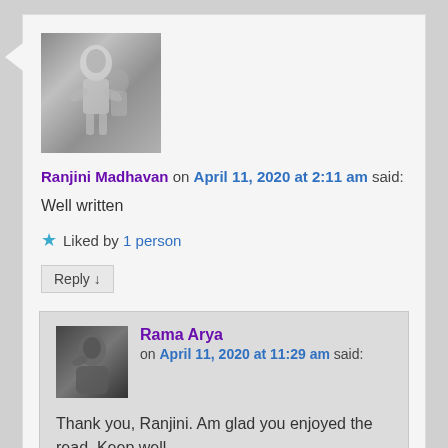[Figure (photo): Avatar image showing a silver/metallic religious figurine (appears to be Hindu deity)]
Ranjini Madhavan on April 11, 2020 at 2:11 am said:
Well written
★ Liked by 1 person
Reply ↓
[Figure (photo): Small avatar photo of a person (Rama Arya) in dark tones]
Rama Arya on April 11, 2020 at 11:29 am said:
Thank you, Ranjini. Am glad you enjoyed the read. Keep well.
★ Like
Reply ↓